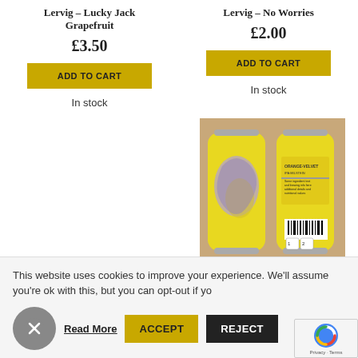Lervig – Lucky Jack Grapefruit
£3.50
ADD TO CART
In stock
Lervig – No Worries
£2.00
ADD TO CART
In stock
[Figure (photo): Two beer cans with yellow labels showing orange/lemon design, front and back, on a wooden surface]
This website uses cookies to improve your experience. We'll assume you're ok with this, but you can opt-out if yo
Read More
ACCEPT
REJECT
Privacy - Terms